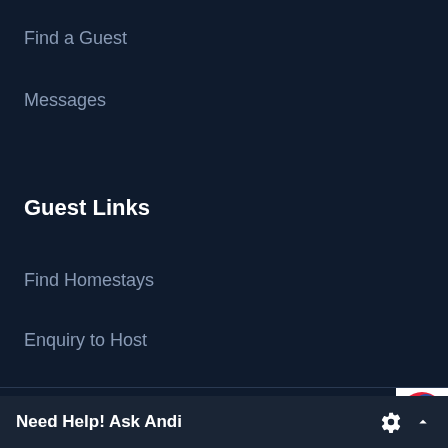Find a Guest
Messages
Guest Links
Find Homestays
Enquiry to Host
Designed & Developed by Gutropolis Solutions
Need Help! Ask Andi